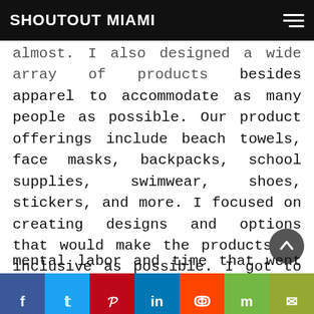SHOUTOUT MIAMI
almost. I also designed a wide array of products besides apparel to accommodate as many people as possible. Our product offerings include beach towels, face masks, backpacks, school supplies, swimwear, shoes, stickers, and more. I focused on creating designs and options that would make the products as inclusive as possible. I got to where I am today through a series of events that can be best categorized as leaps of faith in my ideas driven by lots and lots of verve & caffeine. Starting a company in less than three months without any prior business training was not an easy task. However, part of my motivation behind working on it was the mental labor and time that went into it. I
f  t  p  in  reddit  m  email